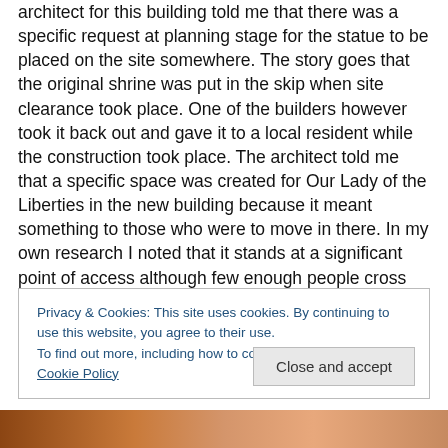architect for this building told me that there was a specific request at planning stage for the statue to be placed on the site somewhere. The story goes that the original shrine was put in the skip when site clearance took place. One of the builders however took it back out and gave it to a local resident while the construction took place. The architect told me that a specific space was created for Our Lady of the Liberties in the new building because it meant something to those who were to move in there. In my own research I noted that it stands at a significant point of access although few enough people cross themselves
Privacy & Cookies: This site uses cookies. By continuing to use this website, you agree to their use.
To find out more, including how to control cookies, see here: Cookie Policy
[Figure (photo): Bottom strip of a photo showing warm brown and orange tones, partially visible at the bottom of the page.]